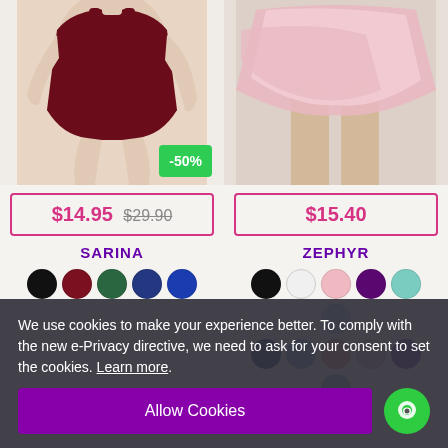[Figure (photo): Woman wearing dark burgundy/red leotard, cropped image showing torso. Green -50% discount badge in bottom right corner.]
[Figure (photo): Close-up of pink ballet wrap skirt with nude tights, product photo cropped to show skirt area.]
$14.95  $29.90
$15.40
SARINA
ZEPHYR
We use cookies to make your experience better. To comply with the new e-Privacy directive, we need to ask for your consent to set the cookies. Learn more.
Allow Cookies